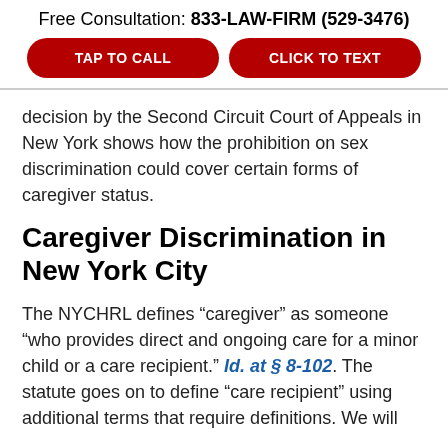Free Consultation: 833-LAW-FIRM (529-3476)
TAP TO CALL
CLICK TO TEXT
decision by the Second Circuit Court of Appeals in New York shows how the prohibition on sex discrimination could cover certain forms of caregiver status.
Caregiver Discrimination in New York City
The NYCHRL defines “caregiver” as someone “who provides direct and ongoing care for a minor child or a care recipient.” Id. at § 8-102. The statute goes on to define “care recipient” using additional terms that require definitions. We will